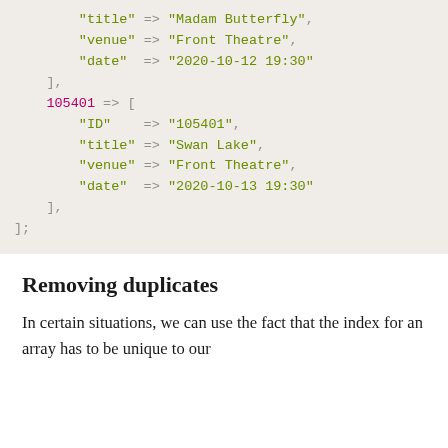"title" => "Madam Butterfly",
"venue" => "Front Theatre",
"date"  => "2020-10-12 19:30"
],
105401 => [
    "ID"    => "105401",
    "title" => "Swan Lake",
    "venue" => "Front Theatre",
    "date"  => "2020-10-13 19:30"
],
];
Removing duplicates
In certain situations, we can use the fact that the index for an array has to be unique to our